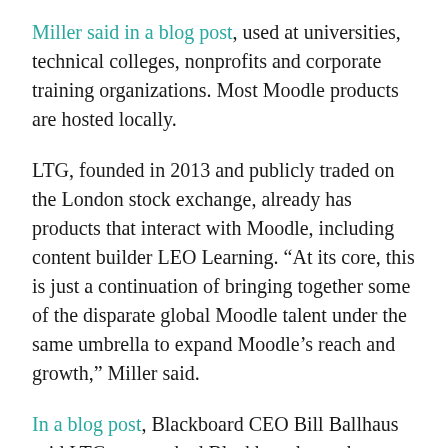Miller said in a blog post, used at universities, technical colleges, nonprofits and corporate training organizations. Most Moodle products are hosted locally.
LTG, founded in 2013 and publicly traded on the London stock exchange, already has products that interact with Moodle, including content builder LEO Learning. “At its core, this is just a continuation of bringing together some of the disparate global Moodle talent under the same umbrella to expand Moodle’s reach and growth,” Miller said.
In a blog post, Blackboard CEO Bill Ballhaus said LTG approached Blackboard months ago with a purchase proposal. “By selling our Open LMS business, both companies will be hyper-focused on fully serving